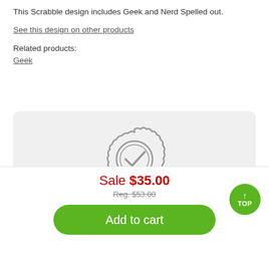This Scrabble design includes Geek and Nerd Spelled out.
See this design on other products
Related products:
Geek
[Figure (other): A badge/seal icon with a checkmark in the center, gray color.]
PERFECTSHIRT® GUARANTEE
Sale $35.00
Reg. $53.00
Add to cart